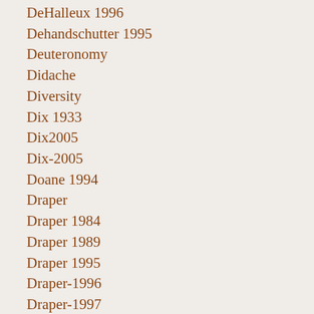DeHalleux 1996
Dehandschutter 1995
Deuteronomy
Didache
Diversity
Dix 1933
Dix2005
Dix-2005
Doane 1994
Draper
Draper 1984
Draper 1989
Draper 1995
Draper-1996
Draper-1997
Draper-2000
Draper-2006
Due 2003
Easter-2